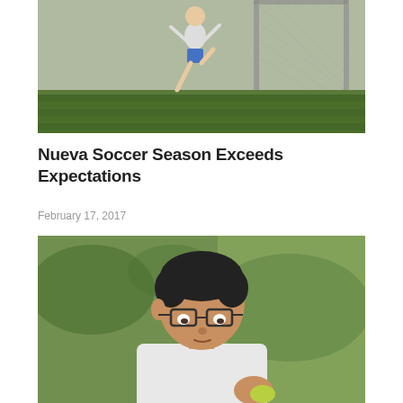[Figure (photo): Soccer player in blue shorts jumping or kicking in front of a chain-link fence goal net on a green field]
Nueva Soccer Season Exceeds Expectations
February 17, 2017
[Figure (photo): Young man with glasses wearing a white t-shirt looking down, outdoors with green blurred background, holding something small]